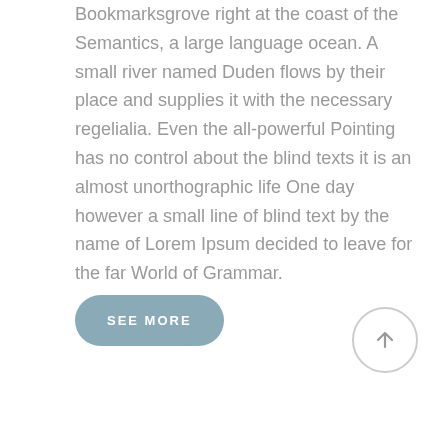Bookmarksgrove right at the coast of the Semantics, a large language ocean. A small river named Duden flows by their place and supplies it with the necessary regelialia. Even the all-powerful Pointing has no control about the blind texts it is an almost unorthographic life One day however a small line of blind text by the name of Lorem Ipsum decided to leave for the far World of Grammar.
SEE MORE